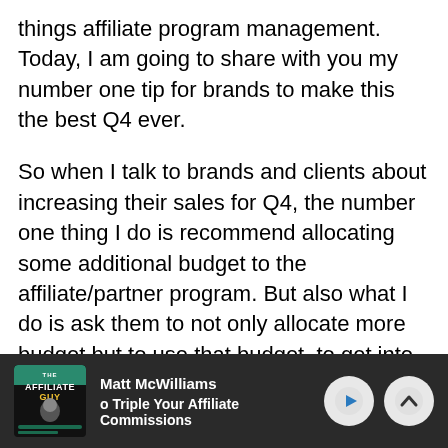things affiliate program management. Today, I am going to share with you my number one tip for brands to make this the best Q4 ever.

So when I talk to brands and clients about increasing their sales for Q4, the number one thing I do is recommend allocating some additional budget to the affiliate/partner program. But also what I do is ask them to not only allocate more budget but to use that budget, to get into gift guides in content that is going to be searched during the holiday season so that they can make the most of it.
[Figure (other): Podcast player bar showing The Affiliate Guy podcast thumbnail, Matt McWilliams author name, 'Triple Your Affiliate Commissions' episode title, and play/up-arrow controls on dark background]